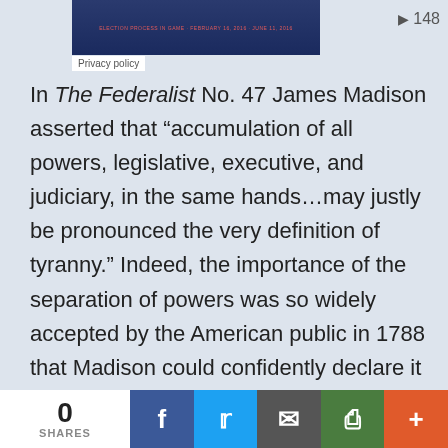[Figure (screenshot): Video thumbnail with dark blue background and red text showing a date range, with Privacy policy label and play button showing 148 views]
In The Federalist No. 47 James Madison asserted that “accumulation of all powers, legislative, executive, and judiciary, in the same hands…may justly be pronounced the very definition of tyranny.” Indeed, the importance of the separation of powers was so widely accepted by the American public in 1788 that Madison could confidently declare it to be “the sacred maxim of free government.” Today,
0 SHARES | Facebook | Twitter | Email | Print | More